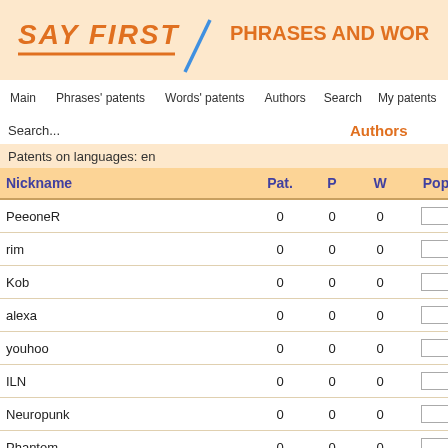[Figure (logo): SAY FIRST logo with orange italic bold text and underline, blue diagonal slash]
PHRASES AND WOR
Main   Phrases' patents   Words' patents   Authors   Search   My patents
Search...
Authors
Patents on languages: en
| Nickname | Pat. | P | W | Pop |
| --- | --- | --- | --- | --- |
| PeeoneR | 0 | 0 | 0 |  |
| rim | 0 | 0 | 0 |  |
| Kob | 0 | 0 | 0 |  |
| alexa | 0 | 0 | 0 |  |
| youhoo | 0 | 0 | 0 |  |
| ILN | 0 | 0 | 0 |  |
| Neuropunk | 0 | 0 | 0 |  |
| Phantom | 0 | 0 | 0 |  |
| Stas | 0 | 0 | 0 |  |
| FotoMax | 0 | 0 | 0 |  |
| Revenge | 0 | 0 | 0 |  |